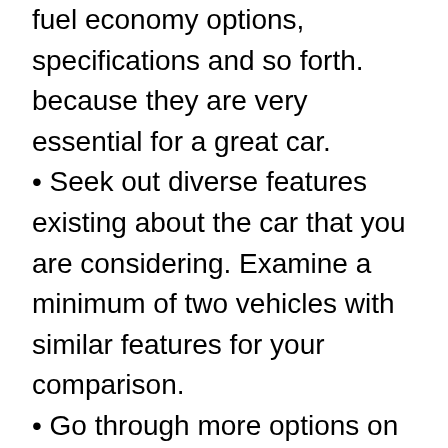fuel economy options, specifications and so forth. because they are very essential for a great car.
Seek out diverse features existing about the car that you are considering. Examine a minimum of two vehicles with similar features for your comparison.
Go through more options on price – info utilizing buyer reports, Kelley Glowing blue Reserve, or any comparable provider.
Do little estimations to look for the real cost of the automobile. You are doing this by subtracting auto dealership keep back, unique bonuses, discounts, and so on. from the base